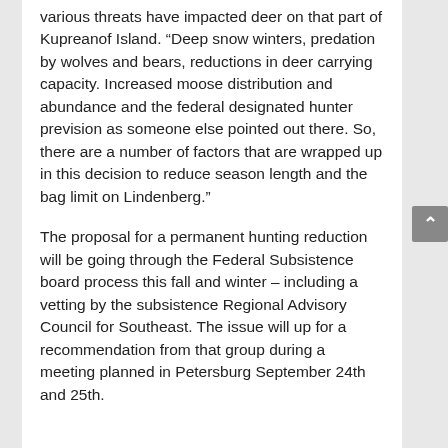various threats have impacted deer on that part of Kupreanof Island. “Deep snow winters, predation by wolves and bears, reductions in deer carrying capacity. Increased moose distribution and abundance and the federal designated hunter prevision as someone else pointed out there. So, there are a number of factors that are wrapped up in this decision to reduce season length and the bag limit on Lindenberg.”
The proposal for a permanent hunting reduction will be going through the Federal Subsistence board process this fall and winter – including a vetting by the subsistence Regional Advisory Council for Southeast. The issue will up for a recommendation from that group during a meeting planned in Petersburg September 24th and 25th.